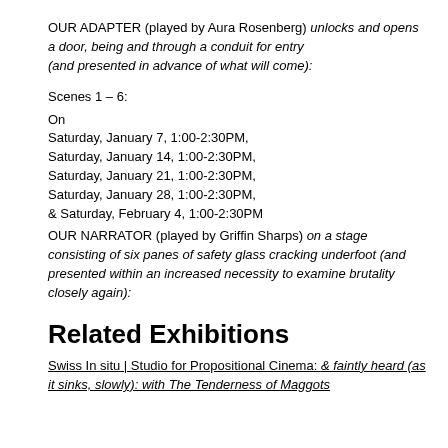OUR ADAPTER (played by Aura Rosenberg) unlocks and opens a door, being and through a conduit for entry (and presented in advance of what will come):
Scenes 1 – 6:
On
Saturday, January 7, 1:00-2:30PM,
Saturday, January 14, 1:00-2:30PM,
Saturday, January 21, 1:00-2:30PM,
Saturday, January 28, 1:00-2:30PM,
& Saturday, February 4, 1:00-2:30PM
OUR NARRATOR (played by Griffin Sharps) on a stage consisting of six panes of safety glass cracking underfoot (and presented within an increased necessity to examine brutality closely again):
Related Exhibitions
Swiss In situ | Studio for Propositional Cinema: & faintly heard (as it sinks, slowly): with The Tenderness of Maggots